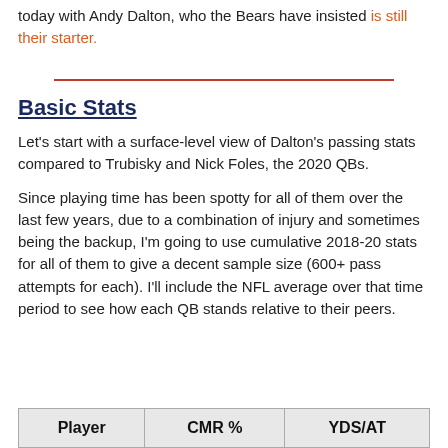today with Andy Dalton, who the Bears have insisted is still their starter.
Basic Stats
Let's start with a surface-level view of Dalton's passing stats compared to Trubisky and Nick Foles, the 2020 QBs.
Since playing time has been spotty for all of them over the last few years, due to a combination of injury and sometimes being the backup, I'm going to use cumulative 2018-20 stats for all of them to give a decent sample size (600+ pass attempts for each). I'll include the NFL average over that time period to see how each QB stands relative to their peers.
| Player | CMR % | YDS/AT |
| --- | --- | --- |